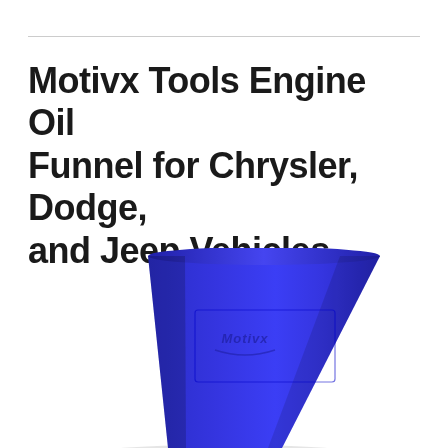Motivx Tools Engine Oil Funnel for Chrysler, Dodge, and Jeep Vehicles
[Figure (photo): Blue silicone engine oil funnel with a wide trapezoidal/conical shape, narrowing toward the bottom, with a debossed Motivx logo on the front face. The funnel body is a deep royal blue color against a white background.]